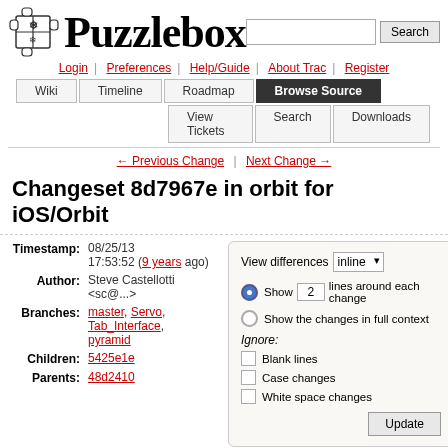Puzzlebox — Search | Login | Preferences | Help/Guide | About Trac | Register | Wiki | Timeline | Roadmap | Browse Source | View Tickets | Search | Downloads
← Previous Change | Next Change →
Changeset 8d7967e in orbit for iOS/Orbit
Timestamp: 08/25/13 17:53:52 (9 years ago)
Author: Steve Castellotti <sc@...>
Branches: master, Servo, Tab_Interface, pyramid
Children: 5425e1e
Parents: 48d2410
View differences inline | Show 2 lines around each change | Show the changes in full context | Ignore: Blank lines, Case changes, White space changes | Update
Message: Tutorial:
HTML and CSS cleanup
Location: iOS/Orbit